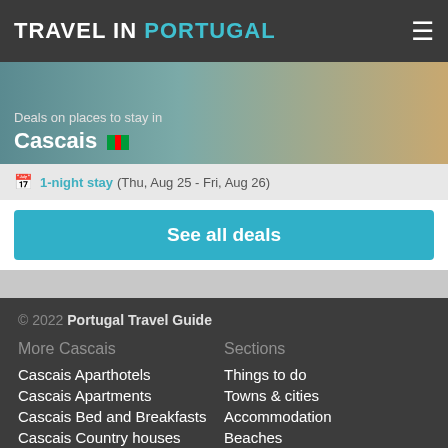TRAVEL IN PORTUGAL
Deals on places to stay in Cascais
1-night stay (Thu, Aug 25 - Fri, Aug 26)
See all deals
© 2022 Portugal Travel Guide
More Cascais
Sections
Cascais Aparthotels
Things to do
Cascais Apartments
Towns & cities
Cascais Bed and Breakfasts
Accommodation
Cascais Country houses
Beaches
Cascais Farm stays
Photos